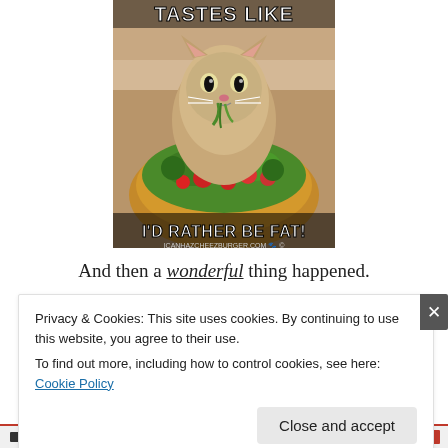[Figure (photo): Internet meme image showing a cat sitting in a bowl of salad with the text 'TASTES LIKE' at the top and 'I'D RATHER BE FAT!' at the bottom, watermarked with 'ICANHAZCHEEZBURGER.COM']
And then a wonderful thing happened.
Privacy & Cookies: This site uses cookies. By continuing to use this website, you agree to their use.
To find out more, including how to control cookies, see here: Cookie Policy
Close and accept